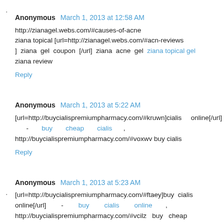Anonymous  March 1, 2013 at 12:58 AM
http://zianagel.webs.com/#causes-of-acne ziana topical [url=http://zianagel.webs.com/#acn-reviews ] ziana gel coupon [/url] ziana acne gel ziana topical gel ziana review
Reply
Anonymous  March 1, 2013 at 5:22 AM
[url=http://buycialispremiumpharmacy.com/#kruwn]cialis online[/url] - buy cheap cialis , http://buycialispremiumpharmacy.com/#voxwv buy cialis
Reply
Anonymous  March 1, 2013 at 5:23 AM
[url=http://buycialispremiumpharmacy.com/#ftaey]buy cialis online[/url] - buy cialis online , http://buycialispremiumpharmacy.com/#vcilz buy cheap